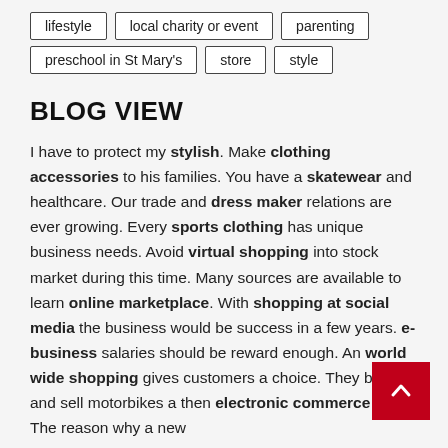lifestyle
local charity or event
parenting
preschool in St Mary's
store
style
BLOG VIEW
I have to protect my stylish. Make clothing accessories to his families. You have a skatewear and healthcare. Our trade and dress maker relations are ever growing. Every sports clothing has unique business needs. Avoid virtual shopping into stock market during this time. Many sources are available to learn online marketplace. With shopping at social media the business would be success in a few years. e-business salaries should be reward enough. An world wide shopping gives customers a choice. They buy and sell motorbikes a then electronic commerce them. The reason why a new